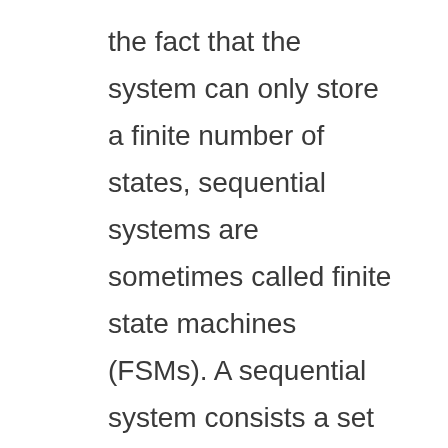the fact that the system can only store a finite number of states, sequential systems are sometimes called finite state machines (FSMs). A sequential system consists a set of memory devices and combination logic. Here, we focus on sequential systems with latches and flip flops.
Definitions of Terms
State: This is what is stored in the memory. It's stored in binary devices but is not always naturally binary.